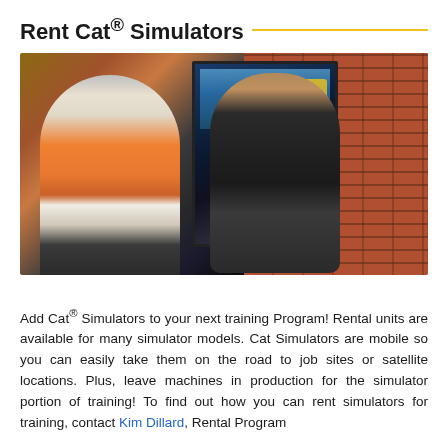Rent Cat® Simulators
[Figure (photo): Two people in front of a large Cat simulator screen mounted on a brick wall. One person seated wearing an orange safety vest and hard hat operates simulator controls; the other person in a black shirt points at the screen.]
Add Cat® Simulators to your next training Program! Rental units are available for many simulator models. Cat Simulators are mobile so you can easily take them on the road to job sites or satellite locations. Plus, leave machines in production for the simulator portion of training! To find out how you can rent simulators for training, contact Kim Dillard, Rental Program